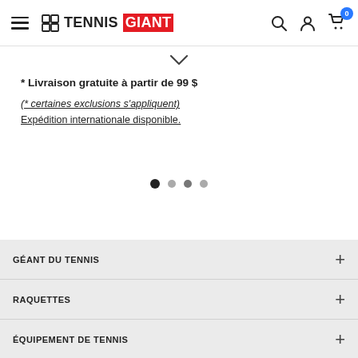TennisGiant navigation header with hamburger menu, logo, search, account and cart icons
* Livraison gratuite à partir de 99 $
(* certaines exclusions s'appliquent)
Expédition internationale disponible.
[Figure (other): Carousel navigation dots: 4 dots, first filled dark, others lighter]
GÉANT DU TENNIS
RAQUETTES
ÉQUIPEMENT DE TENNIS